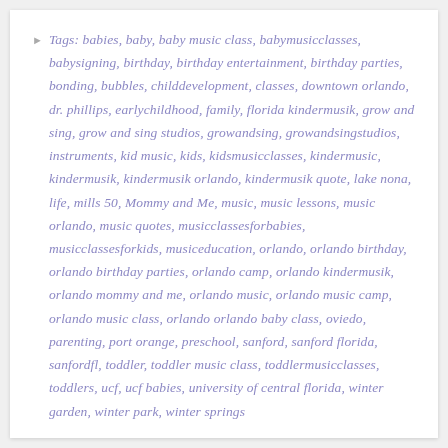Tags: babies, baby, baby music class, babymusicclasses, babysigning, birthday, birthday entertainment, birthday parties, bonding, bubbles, childdevelopment, classes, downtown orlando, dr. phillips, earlychildhood, family, florida kindermusik, grow and sing, grow and sing studios, growandsing, growandsingstudios, instruments, kid music, kids, kidsmusicclasses, kindermusic, kindermusik, kindermusik orlando, kindermusik quote, lake nona, life, mills 50, Mommy and Me, music, music lessons, music orlando, music quotes, musicclassesforbabies, musicclassesforkids, musiceducation, orlando, orlando birthday, orlando birthday parties, orlando camp, orlando kindermusik, orlando mommy and me, orlando music, orlando music camp, orlando music class, orlando orlando baby class, oviedo, parenting, port orange, preschool, sanford, sanford florida, sanfordfl, toddler, toddler music class, toddlermusicclasses, toddlers, ucf, ucf babies, university of central florida, winter garden, winter park, winter springs